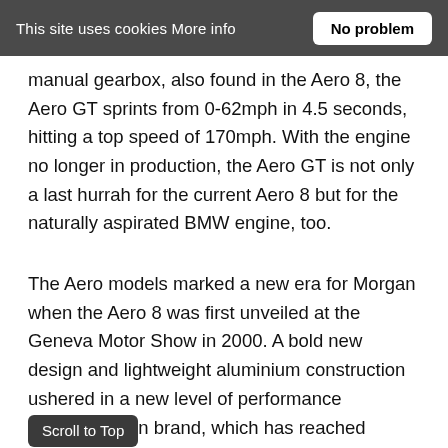This site uses cookies More info   No problem
manual gearbox, also found in the Aero 8, the Aero GT sprints from 0-62mph in 4.5 seconds, hitting a top speed of 170mph. With the engine no longer in production, the Aero GT is not only a last hurrah for the current Aero 8 but for the naturally aspirated BMW engine, too.
The Aero models marked a new era for Morgan when the Aero 8 was first unveiled at the Geneva Motor Show in 2000. A bold new design and lightweight aluminium construction ushered in a new level of performance for the Morgan brand, which has reached